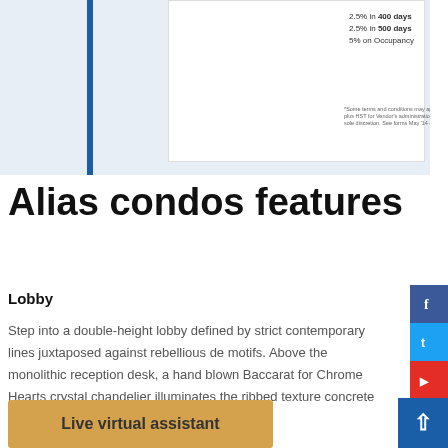[Figure (screenshot): Promotional offer box showing percentage incentives: 2.5% in 400 days, 2.5% in 500 days, 5% on Occupancy, with fine print below]
Alias condos features
Lobby
Step into a double-height lobby defined by strict contemporary lines juxtaposed against rebellious de motifs. Above the monolithic reception desk, a hand blown Baccarat for Chrome Hearts crystal chandelier illuminates the ribbed texture concrete walls and